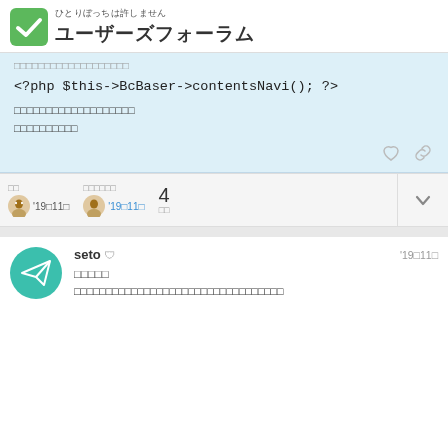ひとりぼっちは許しません ユーザーズフォーラム
□□□□□□□□□□□□□□□□□□□
<?php $this->BcBaser->contentsNavi(); ?>
□□□□□□□□□□□□□□□□□□□
□□□□□□□□□□
□□  □□□□□□  4  □□  '19□11□  '19□11□
seto □  '19□11□
□□□□□
□□□□□□□□□□□□□□□□□□□□□□□□□□□□□□□□□